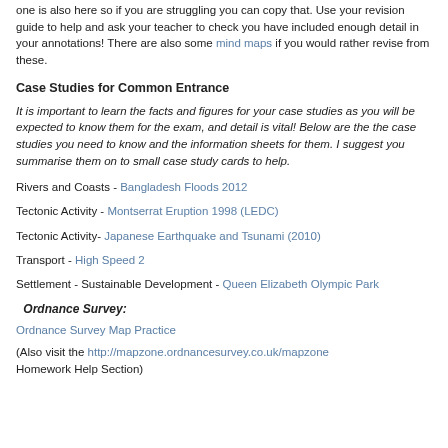one is also here so if you are struggling you can copy that. Use your revision guide to help and ask your teacher to check you have included enough detail in your annotations! There are also some mind maps if you would rather revise from these.
Case Studies for Common Entrance
It is important to learn the facts and figures for your case studies as you will be expected to know them for the exam, and detail is vital! Below are the the case studies you need to know and the information sheets for them. I suggest you summarise them on to small case study cards to help.
Rivers and Coasts - Bangladesh Floods 2012
Tectonic Activity - Montserrat Eruption 1998 (LEDC)
Tectonic Activity- Japanese Earthquake and Tsunami (2010)
Transport - High Speed 2
Settlement - Sustainable Development - Queen Elizabeth Olympic Park
Ordnance Survey:
Ordnance Survey Map Practice
(Also visit the http://mapzone.ordnancesurvey.co.uk/mapzone Homework Help Section)